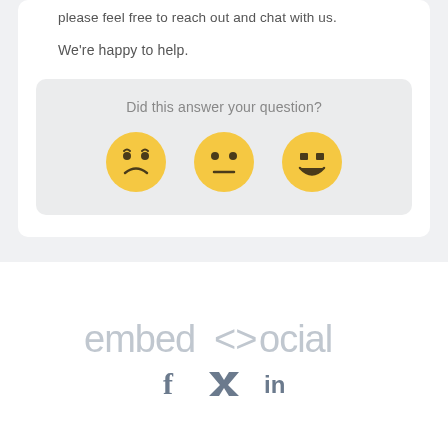please feel free to reach out and chat with us.
We're happy to help.
[Figure (infographic): Feedback widget asking 'Did this answer your question?' with three emoji faces: disappointed, neutral, and happy/smiling.]
[Figure (logo): EmbedSocial logo in light gray text]
[Figure (infographic): Social media icons: Facebook (f), Twitter (bird), LinkedIn (in) in gray]